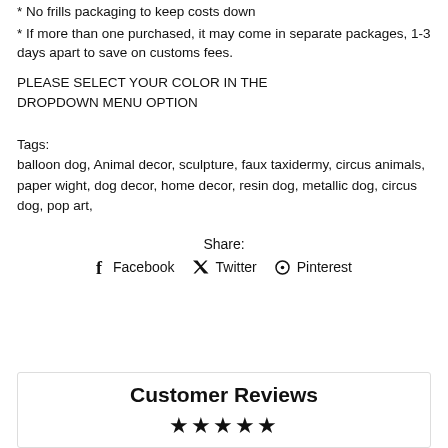* No frills packaging to keep costs down
* If more than one purchased, it may come in separate packages, 1-3 days apart to save on customs fees.
PLEASE SELECT YOUR COLOR IN THE DROPDOWN MENU OPTION
Tags:
balloon dog, Animal decor, sculpture, faux taxidermy, circus animals, paper wight, dog decor, home decor, resin dog, metallic dog, circus dog, pop art,
Share: Facebook  Twitter  Pinterest
Customer Reviews
★★★★★